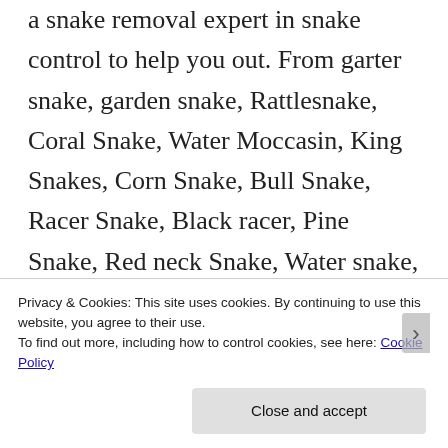a snake removal expert in snake control to help you out. From garter snake, garden snake, Rattlesnake, Coral Snake, Water Moccasin, King Snakes, Corn Snake, Bull Snake, Racer Snake, Black racer, Pine Snake, Red neck Snake, Water snake, Rat Snake and even copperhead – The Wildlife Professionals are here to
Privacy & Cookies: This site uses cookies. By continuing to use this website, you agree to their use.
To find out more, including how to control cookies, see here: Cookie Policy